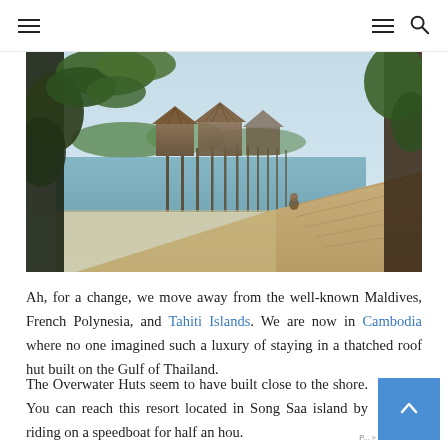Navigation header with hamburger menus and search icon
[Figure (photo): Overwater bungalows on stilts with a wooden walkway, tropical vegetation on both sides, calm water visible, thatched roof huts in background, blue sky]
Ah, for a change, we move away from the well-known Maldives, French Polynesia, and Tahiti Islands. We are now in Cambodia where no one imagined such a luxury of staying in a thatched roof hut built on the Gulf of Thailand.
The Overwater Huts seem to have built close to the shore. You can reach this resort located in Song Saa island by riding on a speedboat for half an hou...